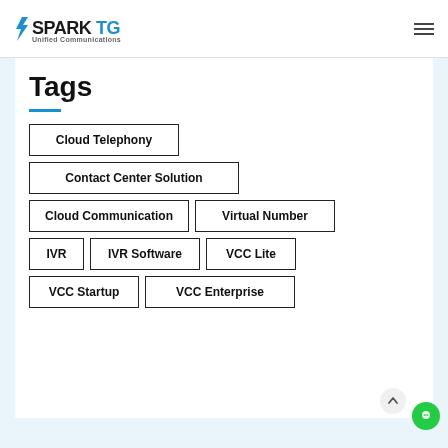SparkTG Unified Communications
Tags
Cloud Telephony
Contact Center Solution
Cloud Communication
Virtual Number
IVR
IVR Software
VCC Lite
VCC Startup
VCC Enterprise